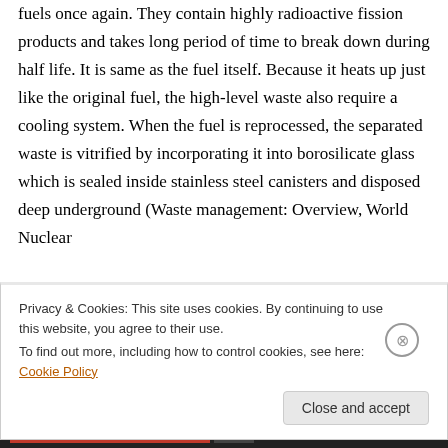fuels once again. They contain highly radioactive fission products and takes long period of time to break down during half life. It is same as the fuel itself. Because it heats up just like the original fuel, the high-level waste also require a cooling system. When the fuel is reprocessed, the separated waste is vitrified by incorporating it into borosilicate glass which is sealed inside stainless steel canisters and disposed deep underground (Waste management: Overview, World Nuclear
Privacy & Cookies: This site uses cookies. By continuing to use this website, you agree to their use.
To find out more, including how to control cookies, see here: Cookie Policy